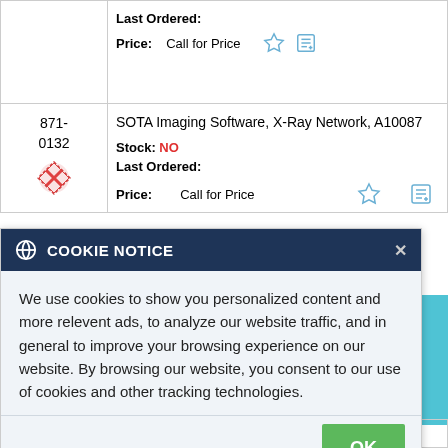| ID | Description |
| --- | --- |
|  | Last Ordered:
Price: Call for Price |
| 871-0132 | SOTA Imaging Software, X-Ray Network, A10087
Stock: NO
Last Ordered:
Price: Call for Price |
| 871- | Apteryx Bridge, Single & Network, A10092 |
COOKIE NOTICE
We use cookies to show you personalized content and more relevent ads, to analyze our website traffic, and in general to improve your browsing experience on our website. By browsing our website, you consent to our use of cookies and other tracking technologies.